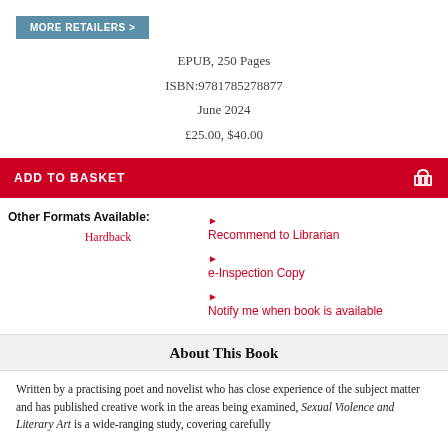MORE RETAILERS >
EPUB, 250 Pages
ISBN:9781785278877
June 2024
£25.00, $40.00
ADD TO BASKET
Other Formats Available:
Hardback
Recommend to Librarian
e-Inspection Copy
Notify me when book is available
About This Book
Written by a practising poet and novelist who has close experience of the subject matter and has published creative work in the areas being examined, Sexual Violence and Literary Art is a wide-ranging study, covering carefully